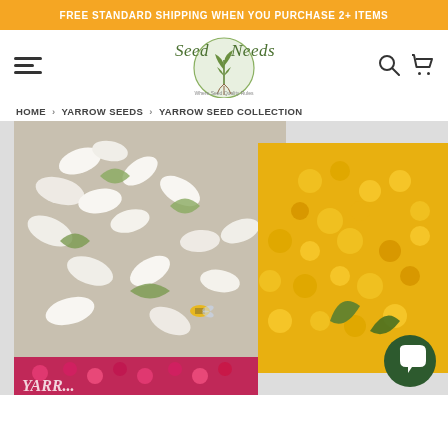FREE STANDARD SHIPPING WHEN YOU PURCHASE 2+ ITEMS
[Figure (logo): Seed Needs logo — stylized script text with plant/roots emblem in a circular badge]
HOME > YARROW SEEDS > YARROW SEED COLLECTION
[Figure (photo): Collage of yarrow flower varieties: white yarrow with bee on the left, bright yellow yarrow on the upper right, and pink/red yarrow strip at the bottom. A dark green circular chat button overlays the lower right.]